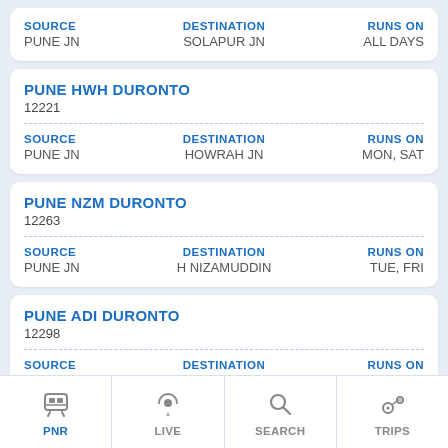| SOURCE | DESTINATION | RUNS ON |
| --- | --- | --- |
| PUNE JN | SOLAPUR JN | ALL DAYS |
PUNE HWH DURONTO
12221
| SOURCE | DESTINATION | RUNS ON |
| --- | --- | --- |
| PUNE JN | HOWRAH JN | MON, SAT |
PUNE NZM DURONTO
12263
| SOURCE | DESTINATION | RUNS ON |
| --- | --- | --- |
| PUNE JN | H NIZAMUDDIN | TUE, FRI |
PUNE ADI DURONTO
12298
| SOURCE | DESTINATION | RUNS ON |
| --- | --- | --- |
| PUNE JN | AHMEDABAD JN | MON, THU, SAT |
PNR | LIVE | SEARCH | TRIPS